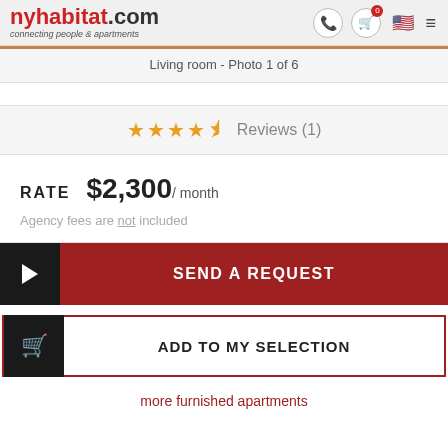nyhabitat.com connecting people & apartments
Living room - Photo 1 of 6
★★★★½ Reviews (1)
RATE $2,300 / month
Agency fees are not included
▶ SEND A REQUEST
ADD TO MY SELECTION
more furnished apartments